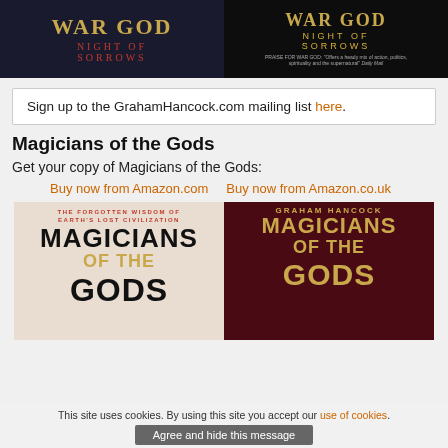[Figure (photo): Two book covers for 'War God: Night of Sorrows' shown side by side — left cover has a dark blue/stone background with gold title and red subtitle, right cover is all black with gold title and tagline text.]
Sign up to the GrahamHancock.com mailing list here.
Magicians of the Gods
Get your copy of Magicians of the Gods:
Buy now from Amazon.com   Buy now from Amazon.co.uk
[Figure (photo): Two book covers for 'Magicians of the Gods' — left cover has a light/cream background with subtitle 'The Forgotten Wisdom of Earth's Lost Civilization', 'MAGICIANS OF THE GODS' in large black and gold text; right cover has a dark red/maroon background with 'GRAHAM HANCOCK MAGICIANS OF THE GODS' in gold text.]
This site uses cookies. By using this site you accept our use of cookies.
Agree and hide this message